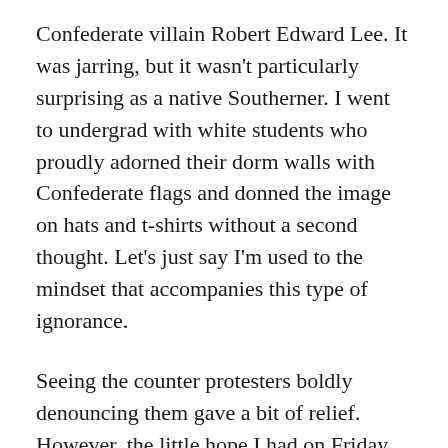Confederate villain Robert Edward Lee. It was jarring, but it wasn't particularly surprising as a native Southerner. I went to undergrad with white students who proudly adorned their dorm walls with Confederate flags and donned the image on hats and t-shirts without a second thought. Let's just say I'm used to the mindset that accompanies this type of ignorance.
Seeing the counter protesters boldly denouncing them gave a bit of relief. However, the little hope I had on Friday night quickly dissipated by Saturday afternoon. My emotions grew deeper when I read about Heather Heyer's murder after Neo-Nazi James Alex Fields, Jr. rammed his car into the crowd. Since I'm always interested in other people's takes,